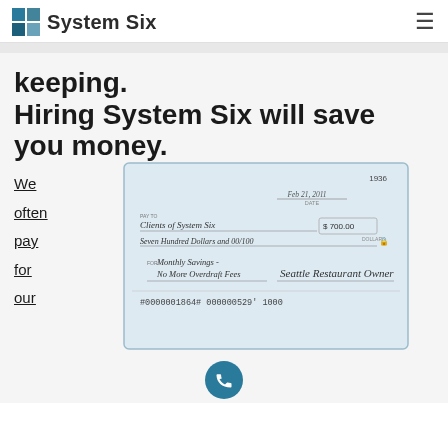System Six
keeping.
Hiring System Six will save you money.
We
often
pay
for
our
[Figure (photo): A printed bank check made out to Clients of System Six for $700.00, dated Feb 21, 2011, with memo 'Monthly Savings - No More Overdraft Fees', signed by Seattle Restaurant Owner. Check number 1936.]